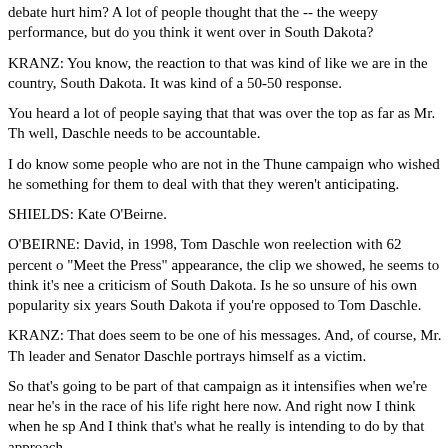debate hurt him? A lot of people thought that the -- the weepy performance, but do you think it went over in South Dakota?
KRANZ: You know, the reaction to that was kind of like we are in the country, South Dakota. It was kind of a 50-50 response.
You heard a lot of people saying that that was over the top as far as Mr. Th... well, Daschle needs to be accountable.
I do know some people who are not in the Thune campaign who wished he... something for them to deal with that they weren't anticipating.
SHIELDS: Kate O'Beirne.
O'BEIRNE: David, in 1998, Tom Daschle won reelection with 62 percent... "Meet the Press" appearance, the clip we showed, he seems to think it's nee... a criticism of South Dakota. Is he so unsure of his own popularity six years... South Dakota if you're opposed to Tom Daschle.
KRANZ: That does seem to be one of his messages. And, of course, Mr. Th... leader and Senator Daschle portrays himself as a victim.
So that's going to be part of that campaign as it intensifies when we're near... he's in the race of his life right here now. And right now I think when he sp... And I think that's what he really is intending to do by that approach.
SHIELDS: Al Hunt.
HUNT: David, John Thune a couple of weeks ago, gay marriage was going... terrorism. And now it's the question of Daschle emboldening our enemies.
Is he just desperately searching around for something? Because right now...